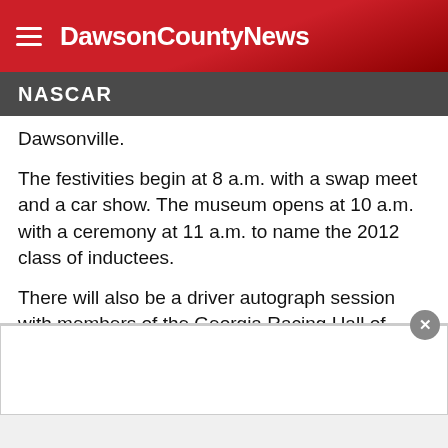DawsonCountyNews
NASCAR
Dawsonville.
The festivities begin at 8 a.m. with a swap meet and a car show. The museum opens at 10 a.m. with a ceremony at 11 a.m. to name the 2012 class of inductees.
There will also be a driver autograph session with members of the Georgia Racing Hall of Fame and current drivers.
Inductees will be recognized at the hall's annual banquet and awards ceremony Oct. 26.
[Figure (other): Advertisement placeholder area at the bottom of the page with a close (X) button]